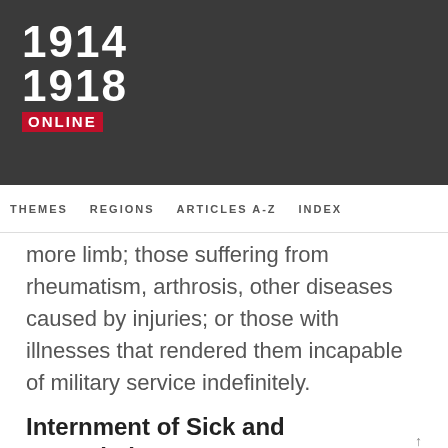[Figure (logo): 1914-1918 Online logo with red ONLINE label on dark background header]
THEMES   REGIONS   ARTICLES A-Z   INDEX
more limb; those suffering from rheumatism, arthrosis, other diseases caused by injuries; or those with illnesses that rendered them incapable of military service indefinitely.
Internment of Sick and Wounded POWs
Internment Regions and Military Hospitals